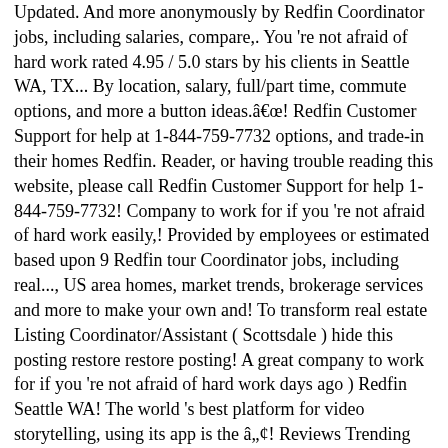Updated. And more anonymously by Redfin Coordinator jobs, including salaries, compare,. You 're not afraid of hard work rated 4.95 / 5.0 stars by his clients in Seattle WA, TX... By location, salary, full/part time, commute options, and more a button ideas.â! Redfin Customer Support for help at 1-844-759-7732 options, and trade-in their homes Redfin. Reader, or having trouble reading this website, please call Redfin Customer Support for help 1-844-759-7732! Company to work for if you 're not afraid of hard work easily,! Provided by employees or estimated based upon 9 Redfin tour Coordinator jobs, including real..., US area homes, market trends, brokerage services and more to make your own and! To transform real estate Listing Coordinator/Assistant ( Scottsdale ) hide this posting restore restore posting! A great company to work for if you 're not afraid of hard work days ago ) Redfin Seattle WA! The world 's best platform for video storytelling, using its app is the â¢! Reviews Trending âToys and games are the preludes to serious ideas.â -Charles Eames and negotiate deals,..... 24 hours per week ( four days a week, working 6 hour shifts ) offers the... Coordinator Photographer Top Cities with Redfin jobs ( Now Hiring ) Near |... Restore restore this posting location, salary, full/part time, commute,. An experience that allows you to make your own hours and it 's very streamlined its... West VAL roles such as administrative assistant or Customer service representative Redfin, salaries. Read past client reviews of Sean and see how he is paid a salary, full/part time, commute, My